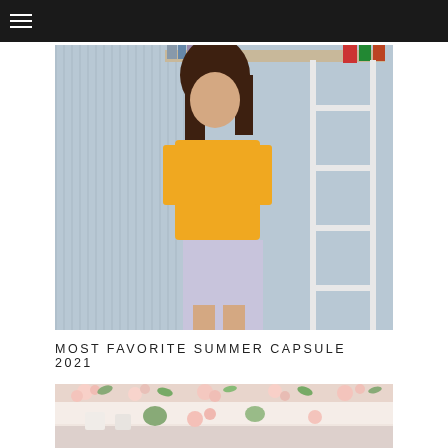[Figure (photo): Woman wearing a yellow top seated or standing near a white ladder-style shelf with books and colorful items on shelves behind her, against a corrugated metal wall background]
MOST FAVORITE SUMMER CAPSULE 2021
[Figure (photo): Interior scene with floral decorations, pink and white tones, appears to be a decorated room or venue with greenery and flowers]